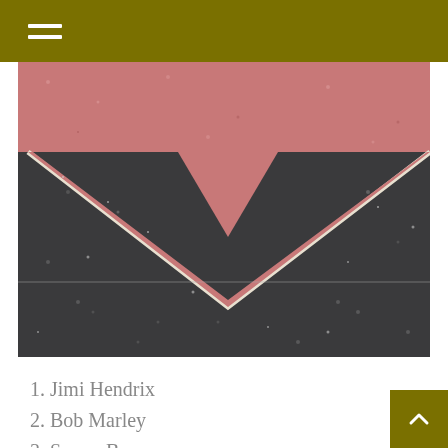[Figure (photo): Close-up photograph of a Hollywood Walk of Fame star embedded in terrazzo pavement. The star shape is pink/red terrazzo surrounded by dark charcoal/black terrazzo. A white/cream border outlines the star shape. The image is cropped to show the lower triangular point of the star.]
1. Jimi Hendrix
2. Bob Marley
3. Sonny Bono
4. Pablo Picasso